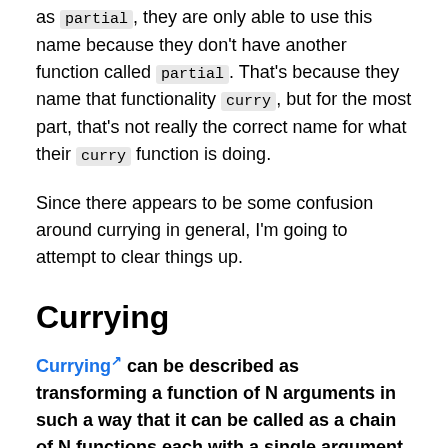as partial, they are only able to use this name because they don't have another function called partial. That's because they name that functionality curry, but for the most part, that's not really the correct name for what their curry function is doing.
Since there appears to be some confusion around currying in general, I'm going to attempt to clear things up.
Currying
Currying can be described as transforming a function of N arguments in such a way that it can be called as a chain of N functions each with a single argument.
Once a function has been curried, it is effectively "primed" for partial application, because as soon as you start passing